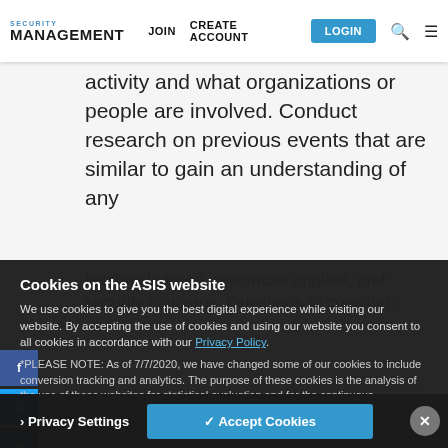SECURITY MANAGEMENT | JOIN | CREATE ACCOUNT | LOGIN
activity and what organizations or people are involved. Conduct research on previous events that are similar to gain an understanding of any
lessons learned, resources applied, and security concerns. Questions to consider:
Cookies on the ASIS website
We use cookies to give you the best digital experience while visiting our website. By accepting the use of cookies and using our website you consent to all cookies in accordance with our Privacy Policy.
*PLEASE NOTE: As of 7/7/2020, we have changed some of our cookies to include conversion tracking and analytics. The purpose of these cookies is the analysis of the use of these websites for statistical evaluation and for the continuous improvement of our offers and communication. Please see our Privacy Policy for more information.
Privacy Settings | ✓ Accept Cookies | ×